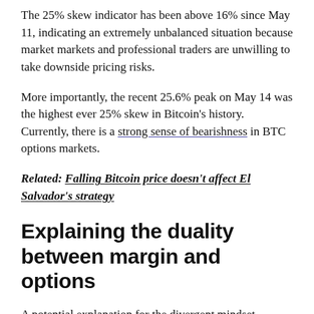The 25% skew indicator has been above 16% since May 11, indicating an extremely unbalanced situation because market markets and professional traders are unwilling to take downside pricing risks.
More importantly, the recent 25.6% peak on May 14 was the highest ever 25% skew in Bitcoin's history. Currently, there is a strong sense of bearishness in BTC options markets.
Related: Falling Bitcoin price doesn't affect El Salvador's strategy
Explaining the duality between margin and options
A potential explanation for the divergent mindset between BTC margin traders and option pricing could